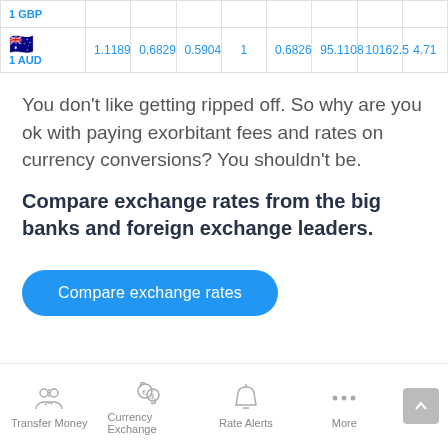|  | 1.1189 | 0.6829 | 0.5904 | 1 | 0.6826 | 95.1108 | 10162.5 | 4.71 |
| --- | --- | --- | --- | --- | --- | --- | --- | --- |
| 1 GBP |  |  |  |  |  |  |  |  |
| 1 AUD | 1.1189 | 0.6829 | 0.5904 | 1 | 0.6826 | 95.1108 | 10162.5 | 4.71 |
You don't like getting ripped off. So why are you ok with paying exorbitant fees and rates on currency conversions? You shouldn't be.
Compare exchange rates from the big banks and foreign exchange leaders.
Compare exchange rates
Transfer Money | Currency Exchange | Rate Alerts | More